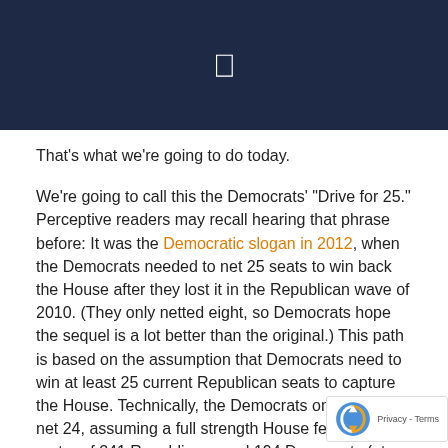That's what we're going to do today.
We're going to call this the Democrats' "Drive for 25." Perceptive readers may recall hearing that phrase before: It was the Democratic slogan in 2012, when the Democrats needed to net 25 seats to win back the House after they lost it in the Republican wave of 2010. (They only netted eight, so Democrats hope the sequel is a lot better than the original.) This path is based on the assumption that Democrats need to win at least 25 current Republican seats to capture the House. Technically, the Democrats only need to net 24, assuming a full strength House featuring a roster of 241 Republicans and 194 Democrats (at present, there are three Republican vacancies that will be filled in special elections later this year — it's possible the Democrats can pull an upset in one or more of these seats, but let's assume for now that they don't; there's also a Democratic vacancy, MI-13, that won't be filled until the regular election).